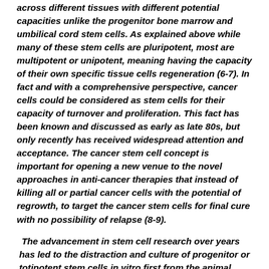across different tissues with different potential capacities unlike the progenitor bone marrow and umbilical cord stem cells. As explained above while many of these stem cells are pluripotent, most are multipotent or unipotent, meaning having the capacity of their own specific tissue cells regeneration (6-7). In fact and with a comprehensive perspective, cancer cells could be considered as stem cells for their capacity of turnover and proliferation. This fact has been known and discussed as early as late 80s, but only recently has received widespread attention and acceptance. The cancer stem cell concept is important for opening a new venue to the novel approaches in anti-cancer therapies that instead of killing all or partial cancer cells with the potential of regrowth, to target the cancer stem cells for final cure with no possibility of relapse (8-9).
The advancement in stem cell research over years has led to the distraction and culture of progenitor or totipotent stem cells in vitro first from the animal models such as mouse, and now from the human's blastocysts, with the ability of generation all